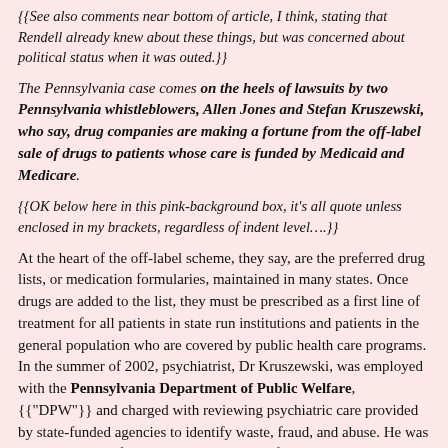{{See also comments near bottom of article, I think, stating that Rendell already knew about these things, but was concerned about political status when it was outed.}}
The Pennsylvania case comes on the heels of lawsuits by two Pennsylvania whistleblowers, Allen Jones and Stefan Kruszewski, who say, drug companies are making a fortune from the off-label sale of drugs to patients whose care is funded by Medicaid and Medicare.
{{OK below here in this pink-background box, it's all quote unless enclosed in my brackets, regardless of indent level….}}
At the heart of the off-label scheme, they say, are the preferred drug lists, or medication formularies, maintained in many states. Once drugs are added to the list, they must be prescribed as a first line of treatment for all patients in state run institutions and patients in the general population who are covered by public health care programs.
In the summer of 2002, psychiatrist, Dr Kruszewski, was employed with the Pennsylvania Department of Public Welfare, {{"DPW"}} and charged with reviewing psychiatric care provided by state-funded agencies to identify waste, fraud, and abuse. He was also responsible for reviewing the deaths of individuals in state care who died under suspicious circumstances in facilities inside and outside of Pennsylvania.
Early in his investigation, Dr Kruszewski noticed that almost all of the patients under state care were on drug cocktails consisting of antipsychotics, antidepressants, and anticonvulsants. The populations he found drugged most often, he said, were children in state care, the disabled